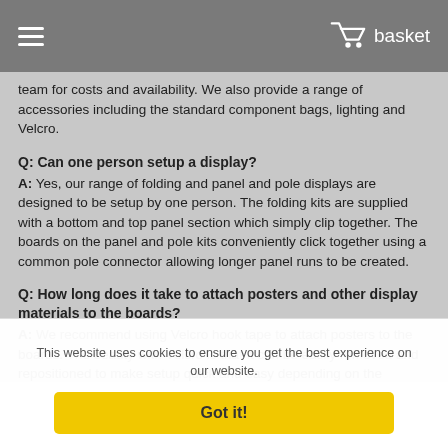basket
team for costs and availability. We also provide a range of accessories including the standard component bags, lighting and Velcro.
Q: Can one person setup a display?
A: Yes, our range of folding and panel and pole displays are designed to be setup by one person. The folding kits are supplied with a bottom and top panel section which simply clip together. The boards on the panel and pole kits conveniently click together using a common pole connector allowing longer panel runs to be created.
Q: How long does it take to attach posters and other display materials to the boards?
A: We recommend using Velcro hook tape to attach posters to the boards. The beauty with Velcro is that it can be easily removed and repositioned to make setup quick and easy depending on the number of boards that require posters. Pins can also be used on the boards but Velcro always looks neater. Single pocket acrylic leaflet holders…
This website uses cookies to ensure you get the best experience on our website.
Got it!